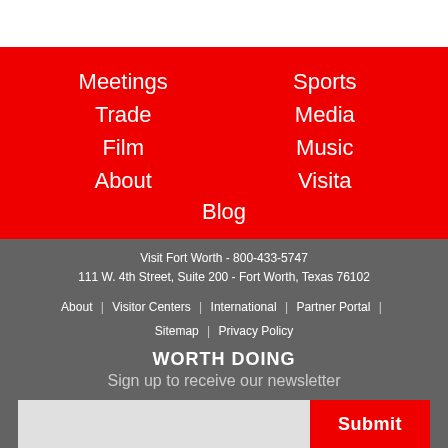Meetings
Trade
Film
About
Sports
Media
Music
Visita
Blog
Visit Fort Worth - 800-433-5747
111 W. 4th Street, Suite 200 - Fort Worth, Texas 76102
About | Visitor Centers | International | Partner Portal | Sitemap | Privacy Policy
WORTH DOING
Sign up to receive our newsletter